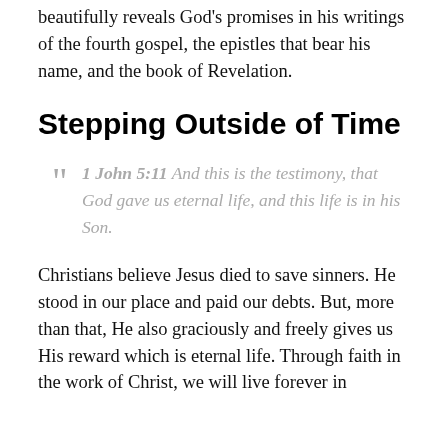beautifully reveals God's promises in his writings of the fourth gospel, the epistles that bear his name, and the book of Revelation.
Stepping Outside of Time
" 1 John 5:11 And this is the testimony, that God gave us eternal life, and this life is in his Son.
Christians believe Jesus died to save sinners. He stood in our place and paid our debts. But, more than that, He also graciously and freely gives us His reward which is eternal life. Through faith in the work of Christ, we will live forever in